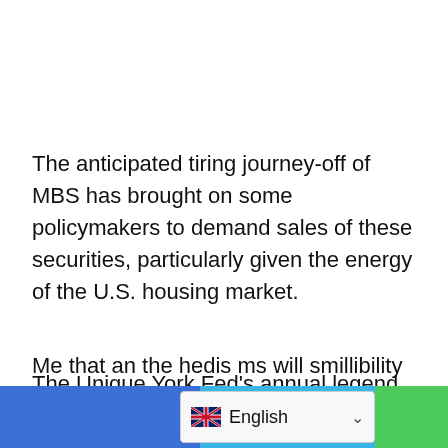The anticipated tiring journey-off of MBS has brought on some policymakers to demand sales of these securities, particularly given the energy of the U.S. housing market.
The Unique York Fed's annual legend on its open market operations affords a key watch of how the Fed's asset holdings, which ballooned to $9 trillion during the pandemic as it bought resources to stabilize core monetary markets, will evolve now that the Fed is letting its balance sheet shrink.
Me that an the hedis ms will smillibility short $80 billi...